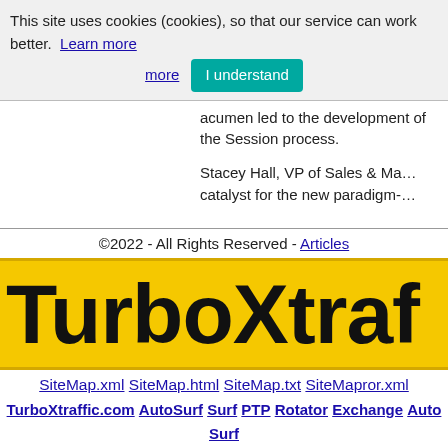This site uses cookies (cookies), so that our service can work better. Learn more  I understand
acumen led to the development of the Session process.
Stacey Hall, VP of Sales & Ma... catalyst for the new paradigm-...
©2022 - All Rights Reserved - Articles
[Figure (logo): TurboXtraffic logo in bold black text on yellow background]
SiteMap.xml  SiteMap.html  SiteMap.txt  SiteMapror.xml
TurboXtraffic.com  AutoSurf  Surf  PTP  Rotator  Exchange  Auto Surf  Web Traffic  Ads  Free Visits  Traffic Websites